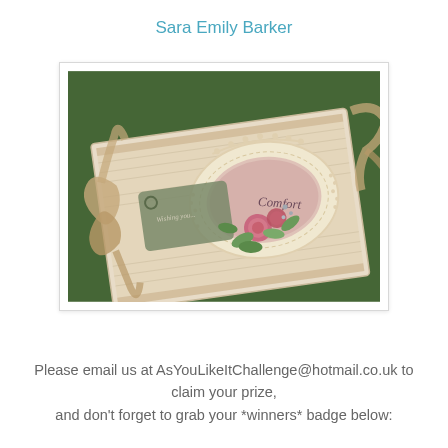Sara Emily Barker
[Figure (photo): A handmade craft card photographed on a green grass background. The card features vintage-style patterned paper, a decorative lace-cut oval frame with the word 'Comfort', pink paper roses with green leaves, a sage green tag reading 'Wishing you...', and a burlap/fabric ribbon bow.]
Please email us at AsYouLikeItChallenge@hotmail.co.uk to claim your prize,
and don't forget to grab your *winners* badge below: